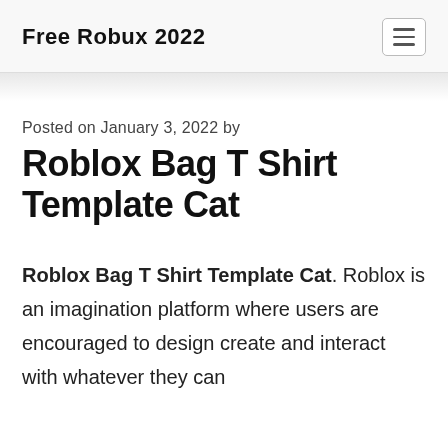Free Robux 2022
Roblox Bag T Shirt Template Cat
Posted on January 3, 2022 by
Roblox Bag T Shirt Template Cat. Roblox is an imagination platform where users are encouraged to design create and interact with whatever they can